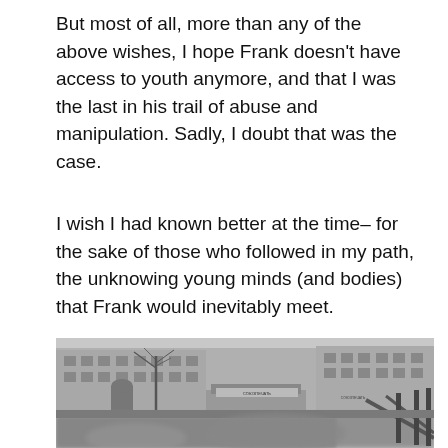But most of all, more than any of the above wishes, I hope Frank doesn't have access to youth anymore, and that I was the last in his trail of abuse and manipulation. Sadly, I doubt that was the case.
I wish I had known better at the time– for the sake of those who followed in my path, the unknowing young minds (and bodies) that Frank would inevitably meet.
[Figure (photo): Black and white photograph taken from a moving vehicle or bus, showing a street scene with historic European-style buildings in the background, a bare tree, a small kiosk or shop with Cyrillic text on signage reading 'СОЮЗПЕЧАТЬ', and a metal railing in the foreground right. The image is slightly blurred suggesting motion.]